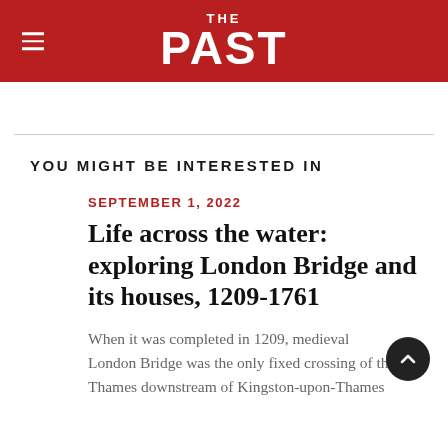THE PAST
YOU MIGHT BE INTERESTED IN
SEPTEMBER 1, 2022
Life across the water: exploring London Bridge and its houses, 1209-1761
When it was completed in 1209, medieval London Bridge was the only fixed crossing of the Thames downstream of Kingston-upon-Thames